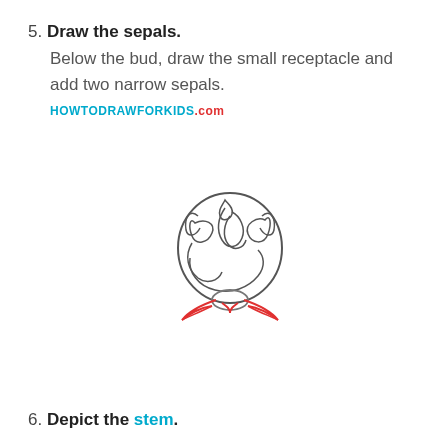5. Draw the sepals.
Below the bud, draw the small receptacle and add two narrow sepals.
HOWTODRAWFORKIDS.com
[Figure (illustration): A hand-drawn rose bud with petals outlined in gray/dark lines, showing a rounded bud shape with swirling petal lines. Below the bud, newly added sepals and a small receptacle are drawn in red lines, depicting two narrow leaf-like sepals extending from the base of the bud.]
6. Depict the stem.